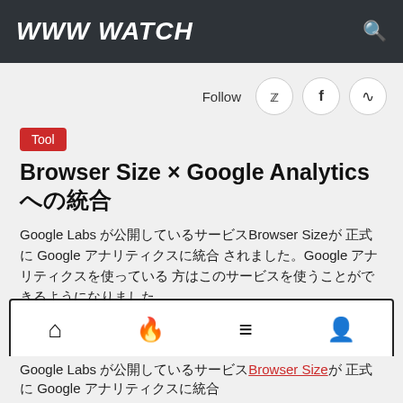WWW WATCH
Follow
Tool
Browser Size × Google Analytics への統合
Google Labs が公開しているサービスBrowser Sizeが 正式に Google アナリティクスに統合 されました。Google アナリティクスを使っている 方はこのサービスを使うことができるようになりました
公開 2012-06-06 13:17
更新 2012-12-07 23:28
Google Labs が公開しているサービスBrowser Sizeが 正式に Google アナリティクスに統合